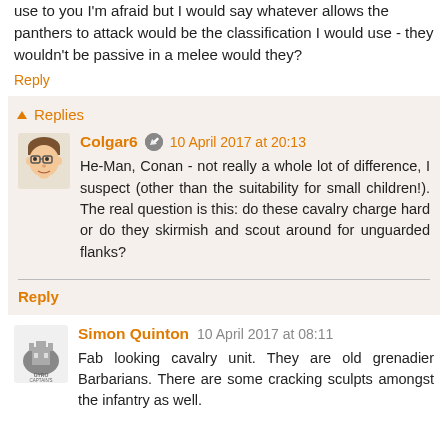use to you I'm afraid but I would say whatever allows the panthers to attack would be the classification I would use - they wouldn't be passive in a melee would they?
Reply
▾ Replies
Colgar6 ✎ 10 April 2017 at 20:13
He-Man, Conan - not really a whole lot of difference, I suspect (other than the suitability for small children!). The real question is this: do these cavalry charge hard or do they skirmish and scout around for unguarded flanks?
Reply
Simon Quinton  10 April 2017 at 08:11
Fab looking cavalry unit. They are old grenadier Barbarians. There are some cracking sculpts amongst the infantry as well.